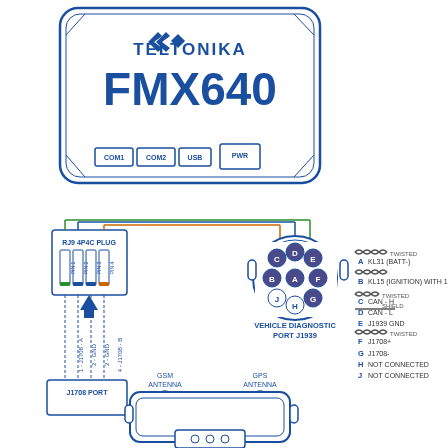[Figure (engineering-diagram): Teltonika FMX640 wiring diagram showing the device top view with COM1, COM2, USB, and PWR ports, connected via RJ9 4P4C plug and Vehicle Diagnostic Port J1939 with pin assignments A through J, and a bottom section showing J1708 port connections with GSM and GPS antenna positions.]